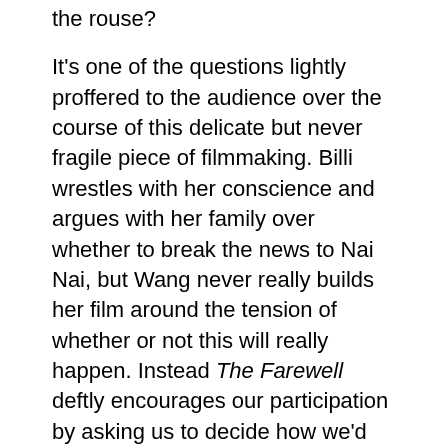the rouse?
It's one of the questions lightly proffered to the audience over the course of this delicate but never fragile piece of filmmaking. Billi wrestles with her conscience and argues with her family over whether to break the news to Nai Nai, but Wang never really builds her film around the tension of whether or not this will really happen. Instead The Farewell deftly encourages our participation by asking us to decide how we'd react. Are there beautiful lies? And just how naive is Nai Nai? She must be aware of the custom she's the centre of…
The sense of stoicism and maybe even complicit agreement may form part of a distinctly Eastern tradition, but behaviours like this are common in all families. Alan Ball's exceptional HBO series Six Feet Under was rooted in the concept of secret lives shared by a close family unit. The Farewell exists in a similar